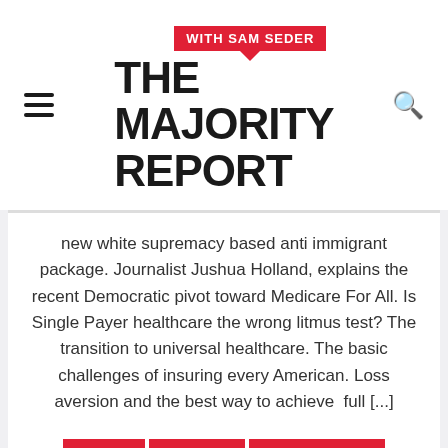[Figure (logo): The Majority Report with Sam Seder logo. Red speech bubble badge with 'WITH SAM SEDER' text above bold black text reading 'THE MAJORITY REPORT']
new white supremacy based anti immigrant package. Journalist Jushua Holland, explains the recent Democratic pivot toward Medicare For All. Is Single Payer healthcare the wrong litmus test? The transition to universal healthcare. The basic challenges of insuring every American. Loss aversion and the best way to achieve  full [...]
PLAY
SHARE
DOWNLOAD
Al Gore
Bernie Sanders
Healthcare